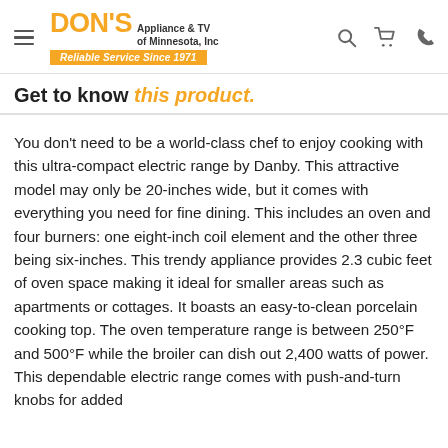DON'S Appliance & TV of Minnesota, Inc — Reliable Service Since 1971
Get to know this product.
You don't need to be a world-class chef to enjoy cooking with this ultra-compact electric range by Danby. This attractive model may only be 20-inches wide, but it comes with everything you need for fine dining. This includes an oven and four burners: one eight-inch coil element and the other three being six-inches. This trendy appliance provides 2.3 cubic feet of oven space making it ideal for smaller areas such as apartments or cottages. It boasts an easy-to-clean porcelain cooking top. The oven temperature range is between 250°F and 500°F while the broiler can dish out 2,400 watts of power. This dependable electric range comes with push-and-turn knobs for added